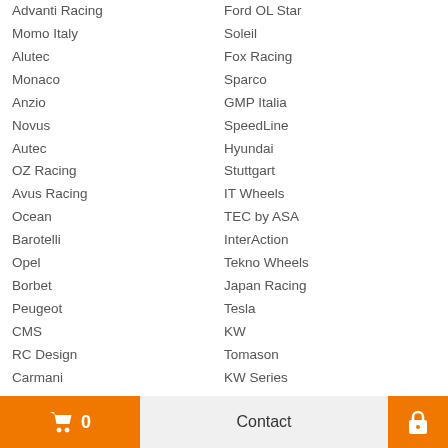Advanti Racing
Ford OL Star
Momo Italy
Soleil
Alutec
Fox Racing
Monaco
Sparco
Anzio
GMP Italia
Novus
SpeedLine
Autec
Hyundai
OZ Racing
Stuttgart
Avus Racing
IT Wheels
Ocean
TEC by ASA
Barotelli
InterAction
Opel
Tekno Wheels
Borbet
Japan Racing
Peugeot
Tesla
CMS
KW
RC Design
Tomason
Carmani
KW Series
RIVIERA XTREME
Vemiri
Citroen
Keskin
RVS
WheelWorld
Concaver
Kia
Radi8
Dezent
LMR
Replica
Cart 0  Contact  Lock